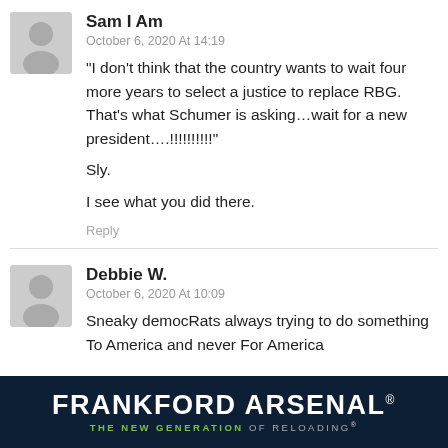Sam I Am
October 6, 2020 At 14:19
“I don’t think that the country wants to wait four more years to select a justice to replace RBG. That’s what Schumer is asking…wait for a new president….”
Sly.
I see what you did there.
Reply
Debbie W.
October 6, 2020 At 10:09
Sneaky democRats always trying to do something To America and never For America
[Figure (logo): Frankford Arsenal advertisement banner - dark navy blue background with white bold text 'FRANKFORD ARSENAL' and green/grey tagline 'THE NEW GENERATION OF RELOADING']